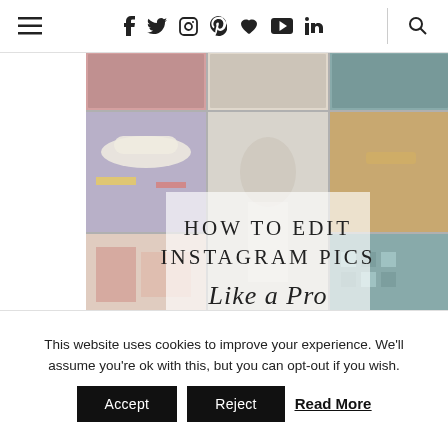≡  f  t  ⊙  ℗  ♥  ▶  in  |  🔍
[Figure (photo): Instagram photo collage grid showing fashion and lifestyle images with overlaid text 'HOW TO EDIT INSTAGRAM PICS Like a Pro']
This website uses cookies to improve your experience. We'll assume you're ok with this, but you can opt-out if you wish.
Accept   Reject   Read More